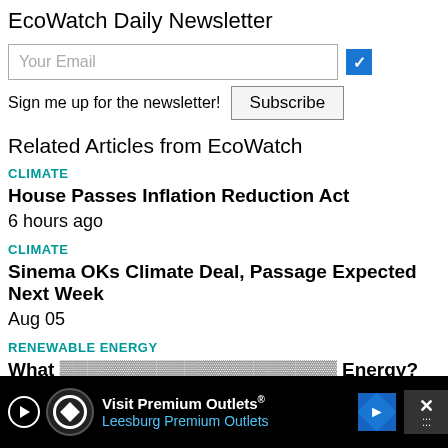EcoWatch Daily Newsletter
Your Email [checkbox]
Sign me up for the newsletter! Subscribe
Related Articles from EcoWatch
CLIMATE
House Passes Inflation Reduction Act
6 hours ago
CLIMATE
Sinema OKs Climate Deal, Passage Expected Next Week
Aug 05
RENEWABLE ENERGY
What [partial text cut off] Energy?
Jul 2[partial]
[Figure (screenshot): Advertisement banner for Visit Premium Outlets / Leesburg Premium Outlets with play button, logo, navigation icon, and close button]